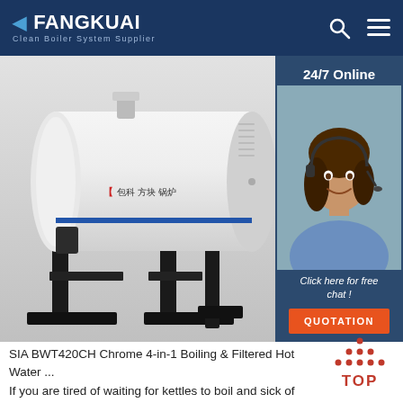FANGKUAI - Clean Boiler System Supplier
[Figure (photo): A white horizontal cylindrical boiler unit mounted on a black metal frame/stand, with Chinese text logo on the side and a blue stripe. Product photo on light grey background.]
[Figure (photo): Side panel showing 24/7 Online support agent (woman with headset smiling), with 'Click here for free chat!' text and an orange QUOTATION button.]
[Figure (other): TOP navigation button with red dots forming a triangle above the word TOP in red.]
SIA BWT420CH Chrome 4-in-1 Boiling & Filtered Hot Water ...
If you are tired of waiting for kettles to boil and sick of spending